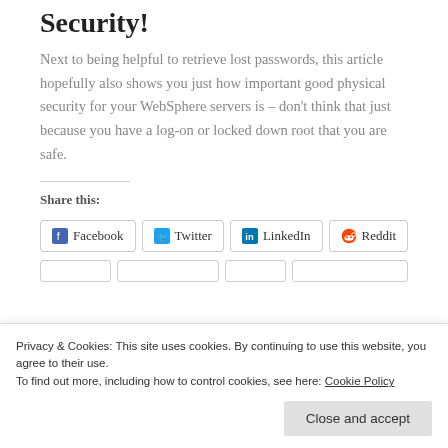Security!
Next to being helpful to retrieve lost passwords, this article hopefully also shows you just how important good physical security for your WebSphere servers is – don't think that just because you have a log-on or locked down root that you are safe.
Share this:
Facebook  Twitter  LinkedIn  Reddit
Privacy & Cookies: This site uses cookies. By continuing to use this website, you agree to their use. To find out more, including how to control cookies, see here: Cookie Policy
Close and accept